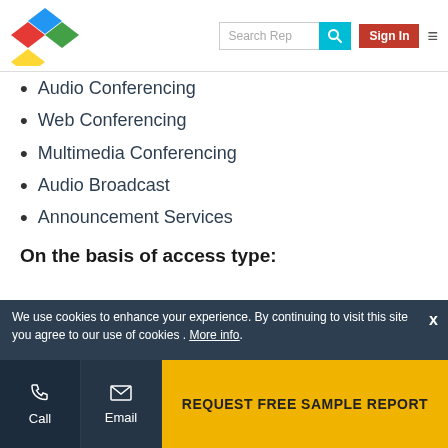Search Rep | Sign In
Audio Conferencing
Web Conferencing
Multimedia Conferencing
Audio Broadcast
Announcement Services
On the basis of access type:
Mobile
Broadband
On the basis of user type:
Enterprise user
Consumer
We use cookies to enhance your experience. By continuing to visit this site you agree to our use of cookies . More info.
Call | Email | REQUEST FREE SAMPLE REPORT